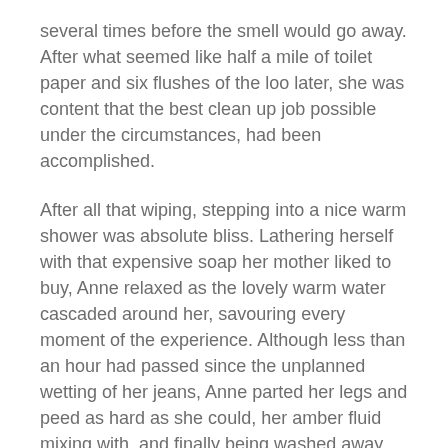several times before the smell would go away. After what seemed like half a mile of toilet paper and six flushes of the loo later, she was content that the best clean up job possible under the circumstances, had been accomplished.
After all that wiping, stepping into a nice warm shower was absolute bliss. Lathering herself with that expensive soap her mother liked to buy, Anne relaxed as the lovely warm water cascaded around her, savouring every moment of the experience. Although less than an hour had passed since the unplanned wetting of her jeans, Anne parted her legs and peed as hard as she could, her amber fluid mixing with, and finally being washed away, by the water that cascaded from the shower. For her, peeing was a vital and indispensable part of the showering ritual. She just couldn't shower and not add her own fluid to that provided by the water board.
Clean at last, she towelled down and found the clean clothes. Tidy after a fashion, she crept down the stairs, hoping to slip out again unnoticed. As she strode past the kitchen door, hoping to escape without detection, her mother's voice...